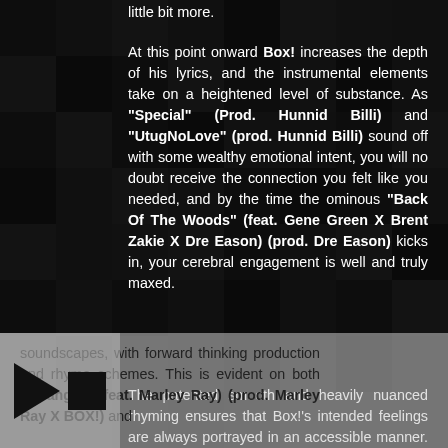little bit more.
At this point onward Box! increases the depth of his lyrics, and the instrumental elements take on a heightened level of substance. As "Special" (Prod. Hunnid Billi) and "UtugNoLove" (prod. Hunnid Billi) sound off with some wealthy emotional intent, you will no doubt receive the connection you felt like you needed, and by the time the ominous "Back Of The Woods" (feat. Gene Green X Brent Zakie X Dre Eason) (prod. Dre Eason) kicks in, your cerebral engagement is well and truly maxed.
The patented smooth and heavily nuanced rhyming ensures that Box!'s intended feelings are always portrayed in an accessible manner. There is no question that he is pro in the field atmospheric soundscapes, with forward thinking production and rhyme schemes. This is evident on both "Stranger" (feat. Marley Ray) (prod. Marley Ray X BOX!) and